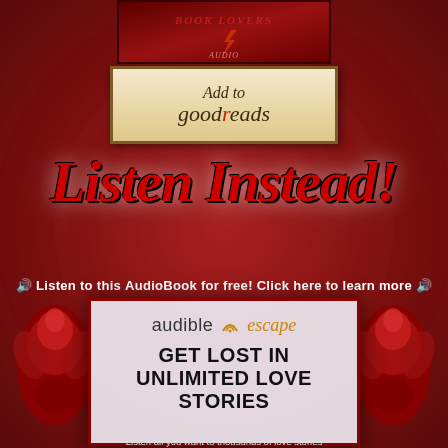[Figure (illustration): Dark red decorative banner at top with stylized text and lightning bolt symbol on rose background]
[Figure (illustration): Goodreads button: beige/tan box with brown border reading 'Add to goodreads' in italic serif font with red 'r']
Listen Instead!
🔊 Listen to this AudioBook for free!  Click here to learn more 🔊
[Figure (illustration): Audible Escape advertisement box with logo and text 'GET LOST IN UNLIMITED LOVE STORIES' on light background with red roses flanking the sides]
Listen all you want to thousands of love stories